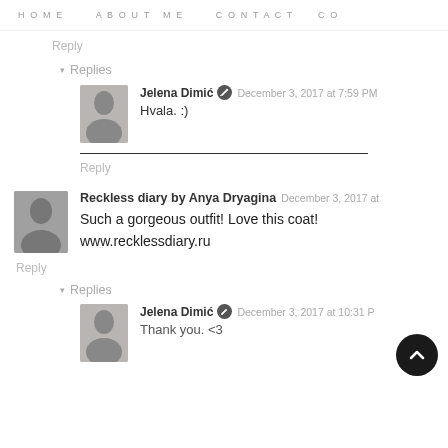HOME   ABOUT ME   CONTACT   CO
Reply
▾  Replies
Jelena Dimić  December 3, 2017 at 7:59 PM
Hvala. :)
Reply
Reckless diary by Anya Dryagina  December 3, 2017 at
Such a gorgeous outfit! Love this coat!
www.recklessdiary.ru
Reply
▾  Replies
Jelena Dimić  December 3, 2017 at 10:31 P
Thank you. <3